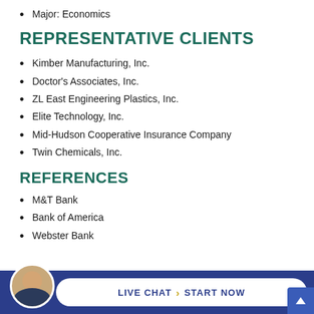Major: Economics
REPRESENTATIVE CLIENTS
Kimber Manufacturing, Inc.
Doctor's Associates, Inc.
ZL East Engineering Plastics, Inc.
Elite Technology, Inc.
Mid-Hudson Cooperative Insurance Company
Twin Chemicals, Inc.
REFERENCES
M&T Bank
Bank of America
Webster Bank
[Figure (infographic): Live chat footer bar with avatar photo of a man in a suit, and a pill-shaped button reading LIVE CHAT > START NOW on a dark blue background]